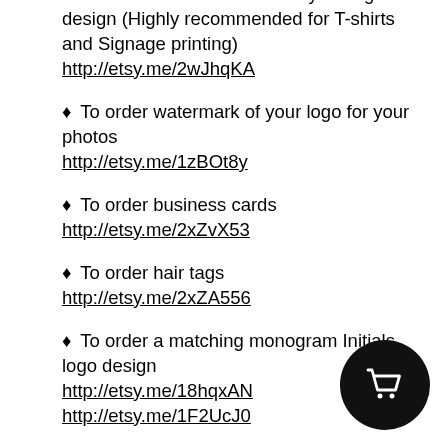♦ To order 5 vector format for your logo or design (Highly recommended for T-shirts and Signage printing)
http://etsy.me/2wJhqKA
♦ To order watermark of your logo for your photos
http://etsy.me/1zBOt8y
♦ To order business cards
http://etsy.me/2xZvX53
♦ To order hair tags
http://etsy.me/2xZA556
♦ To order a matching monogram Initials logo design
http://etsy.me/18hqxAN
http://etsy.me/1F2UcJ0
♦ To order matching website banner
http://etsy.me/2hoYCct